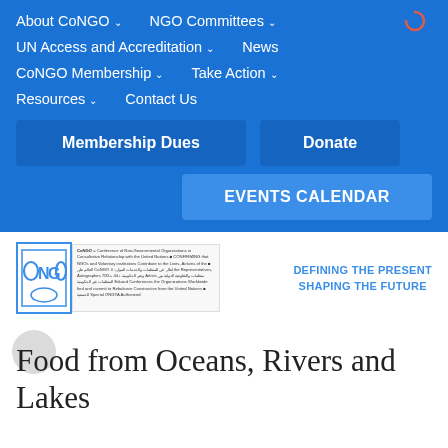About CoNGO | NGO Committees | UN Access and Accreditation | News | CoNGO Membership | Take Action | Resources | Contact Us
Membership Dues
Donate
EVENTS CALENDAR
[Figure (logo): CoNGO logo with ONGO text in a blue bordered square, alongside a text block describing CoNGO organization]
DEFINING THE PRESENT SHAPING THE FUTURE
Food from Oceans, Rivers and Lakes